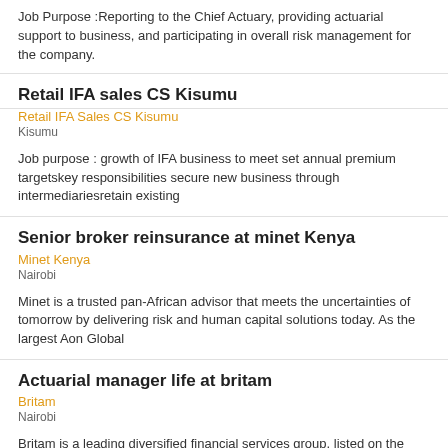Job Purpose :Reporting to the Chief Actuary, providing actuarial support to business, and participating in overall risk management for the company.
Retail IFA sales CS Kisumu
Retail IFA Sales CS Kisumu
Kisumu
Job purpose : growth of IFA business to meet set annual premium targetskey responsibilities secure new business through intermediariesretain existing
Senior broker reinsurance at minet Kenya
Minet Kenya
Nairobi
Minet is a trusted pan-African advisor that meets the uncertainties of tomorrow by delivering risk and human capital solutions today. As the largest Aon Global
Actuarial manager life at britam
Britam
Nairobi
Britam is a leading diversified financial services group, listed on the Nairobi Securities Exchange. The group has interests across the Eastern and Southern